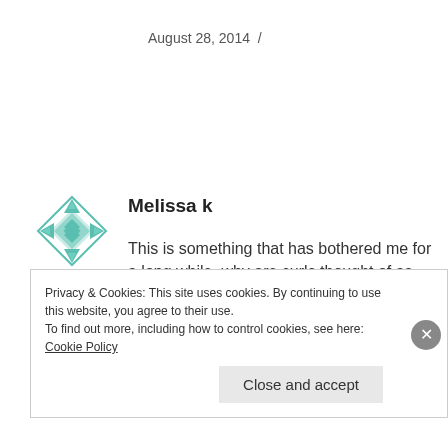August 28, 2014  /
[Figure (illustration): Decorative avatar icon with geometric diamond/star pattern in teal/green color]
Melissa k
This is something that has bothered me for a long while, why are curls thought of as messy or “untamed”? Why do haircare commercials use models with beautiful natural curl as the “ before ” picture? It doesn’t make sense.
Privacy & Cookies: This site uses cookies. By continuing to use this website, you agree to their use.
To find out more, including how to control cookies, see here: Cookie Policy
Close and accept